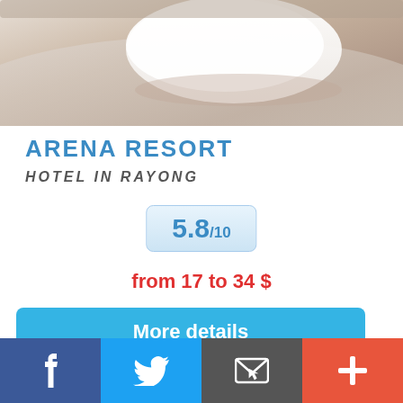[Figure (photo): Hotel room photo showing white pillow and bed with neutral tones]
ARENA RESORT
HOTEL IN RAYONG
5.8/10
from 17 to 34 $
More details
This website uses cookies to enable you the best experience  More...